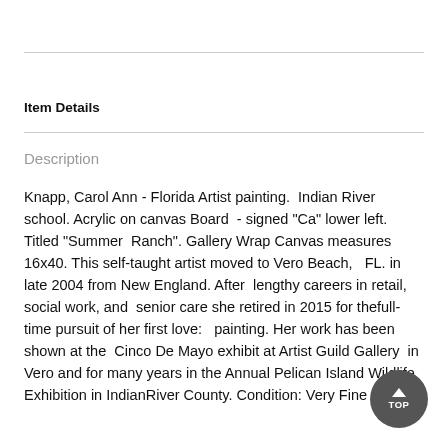Item Details
Description
Knapp, Carol Ann - Florida Artist painting.  Indian River school. Acrylic on canvas Board  - signed "Ca" lower left. Titled "Summer  Ranch". Gallery Wrap Canvas measures 16x40. This self-taught artist moved to Vero Beach,   FL. in late 2004 from New England. After  lengthy careers in retail, social work, and  senior care she retired in 2015 for thefull-time pursuit of her first love:   painting. Her work has been shown at the  Cinco De Mayo exhibit at Artist Guild Gallery  in Vero and for many years in the Annual Pelican Island Wildlife Exhibition in IndianRiver County. Condition: Very Fine